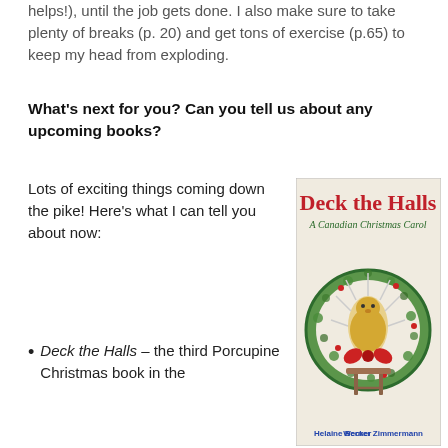helps!), until the job gets done. I also make sure to take plenty of breaks (p. 20) and get tons of exercise (p.65) to keep my head from exploding.
What's next for you? Can you tell us about any upcoming books?
Lots of exciting things coming down the pike! Here's what I can tell you about now:
[Figure (illustration): Book cover for 'Deck the Halls: A Canadian Christmas Carol' by Helaine Becker and Werner Zimmermann. Shows a porcupine sitting inside a Christmas wreath with a red bow, on a stool. Title in red decorative font, subtitle in green.]
Deck the Halls – the third Porcupine Christmas book in the